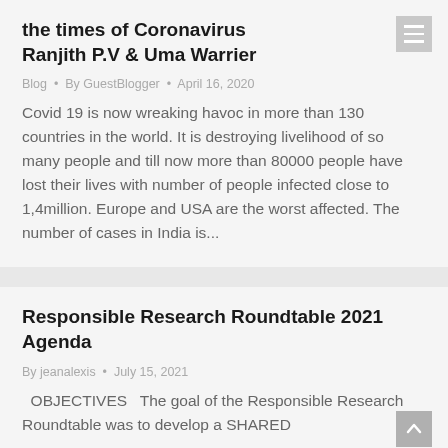the times of Coronavirus Ranjith P.V & Uma Warrier
Blog · By GuestBlogger · April 16, 2020
Covid 19 is now wreaking havoc in more than 130 countries in the world. It is destroying livelihood of so many people and till now more than 80000 people have lost their lives with number of people infected close to 1,4million. Europe and USA are the worst affected. The number of cases in India is...
Responsible Research Roundtable 2021 Agenda
By jeanalexis · July 15, 2021
OBJECTIVES   The goal of the Responsible Research Roundtable was to develop a SHARED